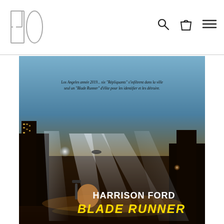[Figure (logo): PO logo in outlined block letters, top left of navigation bar]
[Figure (illustration): Navigation bar icons: search (magnifying glass), shopping bag, hamburger menu]
[Figure (photo): Blade Runner French movie poster featuring Harrison Ford. Dark futuristic cityscape with dramatic searchlight beams. Text reads 'Los Angeles année 2019... six "Répliquants" s'infiltrent dans la ville seul un "Blade Runner" d'élite pour les identifier et les détruire.' Bottom text: 'HARRISON FORD' and 'BLADE RUNNER' in yellow block letters.]